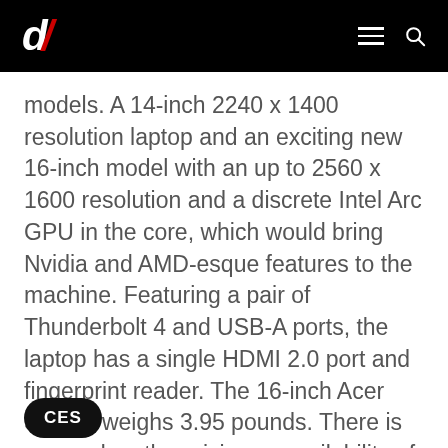d/ [logo] [hamburger menu] [search icon]
models. A 14-inch 2240 x 1400 resolution laptop and an exciting new 16-inch model with an up to 2560 x 1600 resolution and a discrete Intel Arc GPU in the core, which would bring Nvidia and AMD-esque features to the machine. Featuring a pair of Thunderbolt 4 and USB-A ports, the laptop has a single HDMI 2.0 port and fingerprint reader. The 16-inch Acer Swift X weighs 3.95 pounds. There is no word on the pricing or availability of the laptop yet.
CES